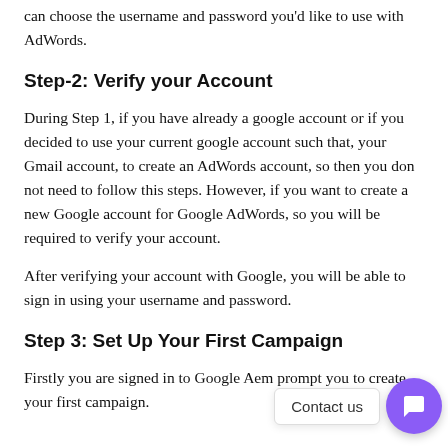can choose the username and password you'd like to use with AdWords.
Step-2: Verify your Account
During Step 1, if you have already a google account or if you decided to use your current google account such that, your Gmail account, to create an AdWords account, so then you don not need to follow this steps. However, if you want to create a new Google account for Google AdWords, so you will be required to verify your account.
After verifying your account with Google, you will be able to sign in using your username and password.
Step 3: Set Up Your First Campaign
Firstly you are signed in to Google A… em… prompt you to create your first campaign.
[Figure (infographic): Contact us chat widget with purple circular button and label 'Contact us', plus a scroll-to-top button]